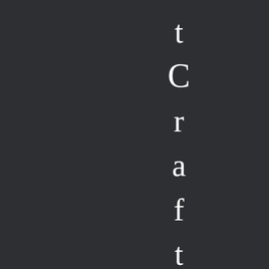[Figure (other): Dark background page with the word 'tCraftyS' displayed vertically, one letter per line, in white serif font on a dark charcoal background. Visible letters from top to bottom: t, C, r, a, f, t, y, S]